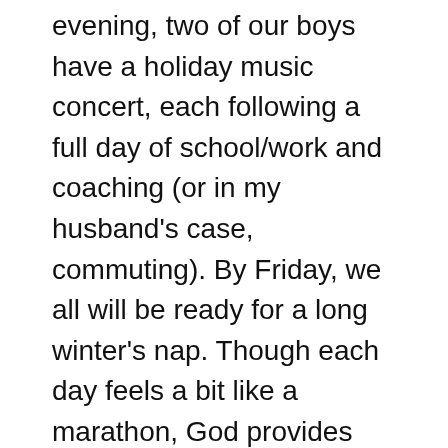evening, two of our boys have a holiday music concert, each following a full day of school/work and coaching (or in my husband's case, commuting). By Friday, we all will be ready for a long winter's nap. Though each day feels a bit like a marathon, God provides the strength that is needed to navigate each day, and His peace along the way. The challenge is to slow down, take a deep breath, and allow His strength and peace to flood our hearts so that there is no room for chaos and doubt and weariness. May we ever fix our eyes and hearts on the Lord to be our strength, as He provides what we need to navigate each new day, and grants us His